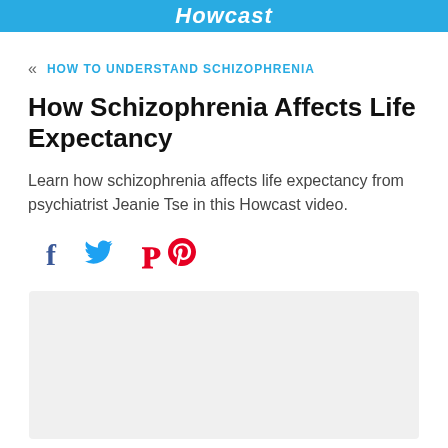Howcast
HOW TO UNDERSTAND SCHIZOPHRENIA
How Schizophrenia Affects Life Expectancy
Learn how schizophrenia affects life expectancy from psychiatrist Jeanie Tse in this Howcast video.
[Figure (screenshot): Social sharing icons: Facebook (f), Twitter (bird), Pinterest (p)]
[Figure (screenshot): Video player placeholder area, light gray background]